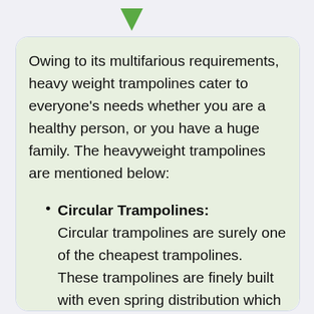Owing to its multifarious requirements, heavy weight trampolines cater to everyone's needs whether you are a healthy person, or you have a huge family. The heavyweight trampolines are mentioned below:
Circular Trampolines: Circular trampolines are surely one of the cheapest trampolines. These trampolines are finely built with even spring distribution which